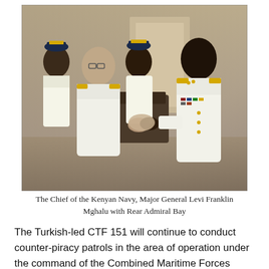[Figure (photo): The Chief of the Kenyan Navy, Major General Levi Franklin Mghalu, shaking hands with Rear Admiral Bay. Several naval officers in white uniforms are present in an indoor setting.]
The Chief of the Kenyan Navy, Major General Levi Franklin Mghalu with Rear Admiral Bay
The Turkish-led CTF 151 will continue to conduct counter-piracy patrols in the area of operation under the command of the Combined Maritime Forces (CMF), which is a multinational naval partnership of 30 nations. CMF exists to promote security, stability and